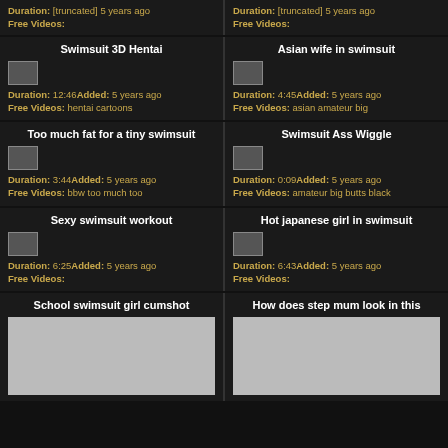Duration: [truncated] Added: 5 years ago
Free Videos:
Duration: [truncated] Added: 5 years ago
Free Videos:
Swimsuit 3D Hentai
Duration: 12:46 Added: 5 years ago
Free Videos: hentai cartoons
Asian wife in swimsuit
Duration: 4:45 Added: 5 years ago
Free Videos: asian amateur big
Too much fat for a tiny swimsuit
Duration: 3:44 Added: 5 years ago
Free Videos: bbw too much too
Swimsuit Ass Wiggle
Duration: 0:09 Added: 5 years ago
Free Videos: amateur big butts black
Sexy swimsuit workout
Duration: 6:25 Added: 5 years ago
Free Videos:
Hot japanese girl in swimsuit
Duration: 6:43 Added: 5 years ago
Free Videos:
School swimsuit girl cumshot
How does step mum look in this